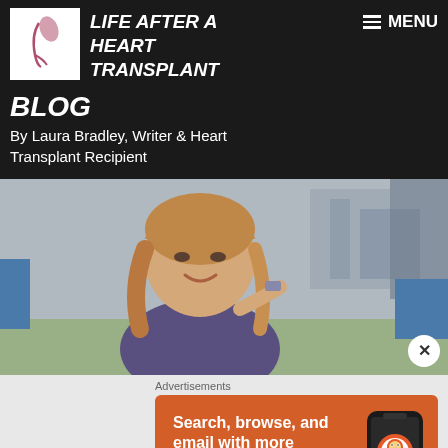LIFE AFTER A HEART TRANSPLANT
BLOG
By Laura Bradley, Writer & Heart Transplant Recipient
[Figure (photo): Photo of a woman with reddish-blonde hair smiling outdoors, with blue and grey background structures]
Advertisements
[Figure (infographic): DuckDuckGo advertisement: Search, browse, and email with more privacy. All in One Free App. Shows a phone with DuckDuckGo logo.]